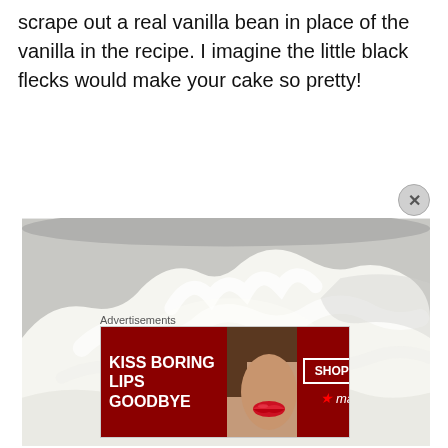scrape out a real vanilla bean in place of the vanilla in the recipe.  I imagine the little black flecks would make your cake so pretty!
[Figure (photo): Close-up photo of fluffy white whipped cream or buttercream frosting in a stainless steel mixing bowl]
Advertisements
[Figure (screenshot): Advertisement banner for Macy's lipstick: 'KISS BORING LIPS GOODBYE' with SHOP NOW button and Macy's star logo, featuring a model's lips]